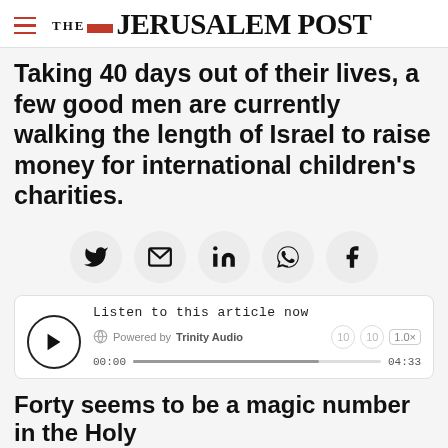THE JERUSALEM POST
Taking 40 days out of their lives, a few good men are currently walking the length of Israel to raise money for international children's charities.
[Figure (infographic): Social share buttons: Twitter, Email, LinkedIn, WhatsApp, Facebook]
[Figure (infographic): Audio player: Listen to this article now. Powered by Trinity Audio. 00:00 / 04:33. 1.0x speed.]
Forty seems to be a magic number in the Holy
Advertisement